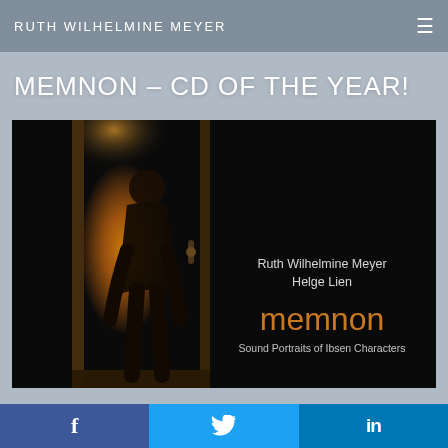RUTH WILHELMINE MEYER
MEMNON – CD OF THE YEAR!
[Figure (photo): CD cover image of 'memnon – Sound Portraits of Ibsen Characters' by Ruth Wilhelmine Meyer and Helge Lien. Dark background with silhouette of a person standing in an amber-lit doorway on the left side; text on the right reads 'Ruth Wilhelmine Meyer / Helge Lien' in white and 'memnon' in orange/amber and 'Sound Portraits of Ibsen Characters' in white.]
f  Twitter bird  in